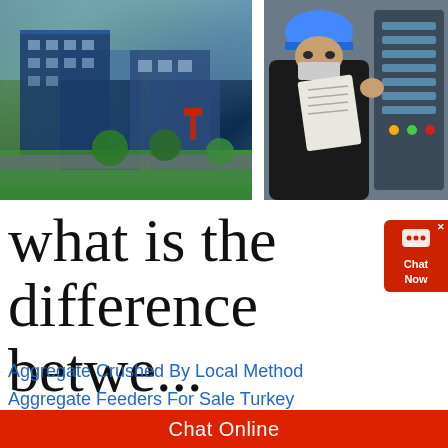[Figure (photo): Aerial view of a modern building complex with green landscaping and parking areas]
[Figure (photo): Worker wearing blue hard hat and mask looking at documents next to a control panel]
what is the difference betwe...
Aggregate Crushed By Local Method
Aggregate Feeders For Sale Turkey
Akash Ganga Vsi Crusher Indonesia
Allis Chalmers Crushers Catalogos
Artificial Marble Crusher Machine
Ball Mill Larger Or Smaller Balls
Chat Online